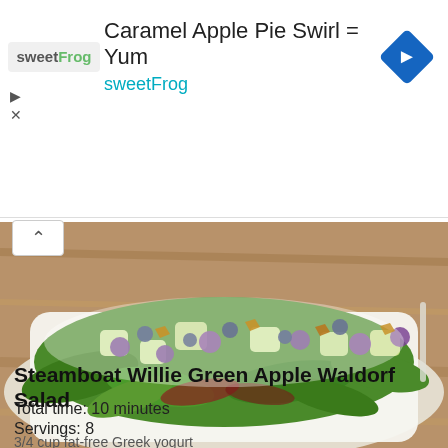[Figure (illustration): sweetFrog advertisement banner with logo, text 'Caramel Apple Pie Swirl = Yum' and 'sweetFrog', and a blue diamond navigation icon]
[Figure (photo): Food photo of a Waldorf salad with green apple chunks, grapes, and blueberries on a bed of mixed greens on a white plate, placed on a rustic wooden table]
Steamboat Willie Green Apple Waldorf Salad
Total time: 10 minutes
Servings: 8
3/4 cup fat-free Greek yogurt